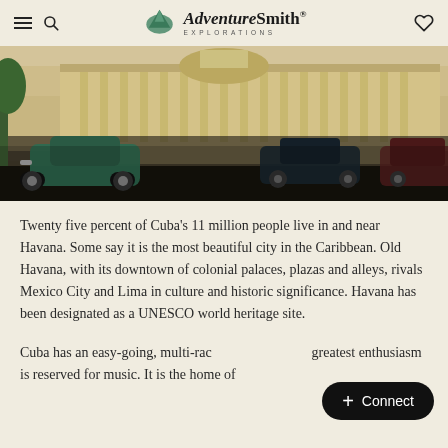AdventureSmith EXPLORATIONS
[Figure (photo): Street scene in Havana, Cuba showing vintage classic cars driving in front of a large colonial building]
Twenty five percent of Cuba's 11 million people live in and near Havana. Some say it is the most beautiful city in the Caribbean. Old Havana, with its downtown of colonial palaces, plazas and alleys, rivals Mexico City and Lima in culture and historic significance. Havana has been designated as a UNESCO world heritage site.
Cuba has an easy-going, multi-racial culture whose greatest enthusiasm is reserved for music. It is the home of